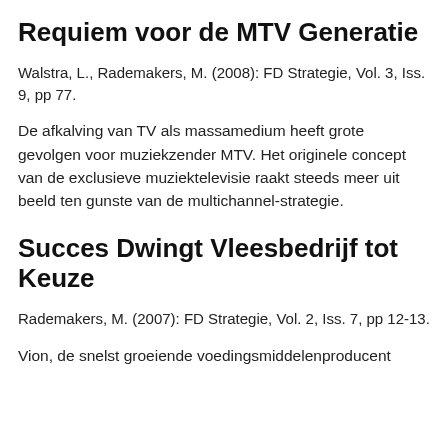Requiem voor de MTV Generatie
Walstra, L., Rademakers, M. (2008): FD Strategie, Vol. 3, Iss. 9, pp 77.
De afkalving van TV als massamedium heeft grote gevolgen voor muziekzender MTV. Het originele concept van de exclusieve muziektelevisie raakt steeds meer uit beeld ten gunste van de multichannel-strategie.
Succes Dwingt Vleesbedrijf tot Keuze
Rademakers, M. (2007): FD Strategie, Vol. 2, Iss. 7, pp 12-13.
Vion, de snelst groeiende voedingsmiddelenproducent